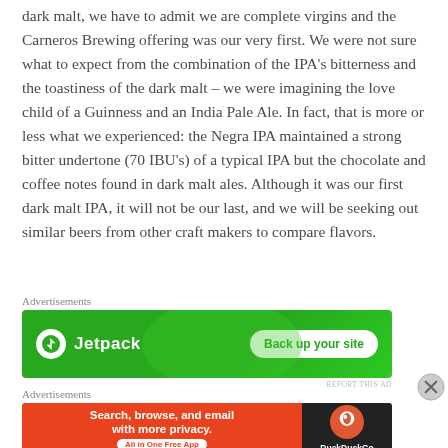dark malt, we have to admit we are complete virgins and the Carneros Brewing offering was our very first. We were not sure what to expect from the combination of the IPA's bitterness and the toastiness of the dark malt – we were imagining the love child of a Guinness and an India Pale Ale. In fact, that is more or less what we experienced: the Negra IPA maintained a strong bitter undertone (70 IBU's) of a typical IPA but the chocolate and coffee notes found in dark malt ales. Although it was our first dark malt IPA, it will not be our last, and we will be seeking out similar beers from other craft makers to compare flavors.
Advertisements
[Figure (other): Jetpack advertisement banner with green background, Jetpack logo on the left and 'Back up your site' button on the right]
Advertisements
[Figure (other): DuckDuckGo advertisement banner with orange left section saying 'Search, browse, and email with more privacy. All in One Free App' and dark right section with DuckDuckGo logo]